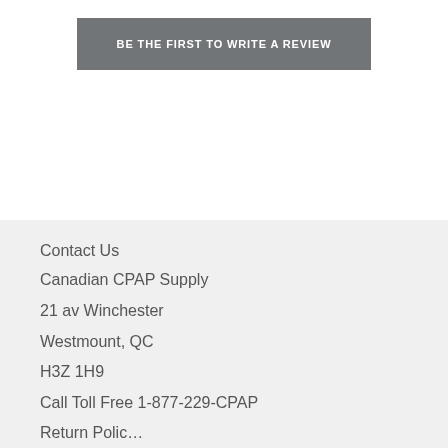BE THE FIRST TO WRITE A REVIEW
Contact Us
Canadian CPAP Supply
21 av Winchester
Westmount, QC
H3Z 1H9
Call Toll Free 1-877-229-CPAP
Return Polic…